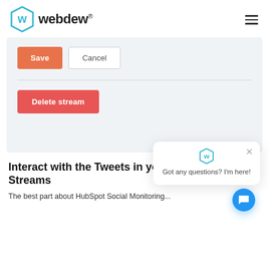webdew®
[Figure (screenshot): Screenshot of a web UI showing Save and Cancel buttons, a horizontal divider, and a Delete stream button on a light gray background. A chat popup overlay appears at bottom-right with a Webdew logo icon and text 'Got any questions? I'm here!' with a close X button. A blue circular chat button is visible at far bottom-right.]
Interact with the Tweets in your Streams
The best part about HubSpot Social Monitoring...